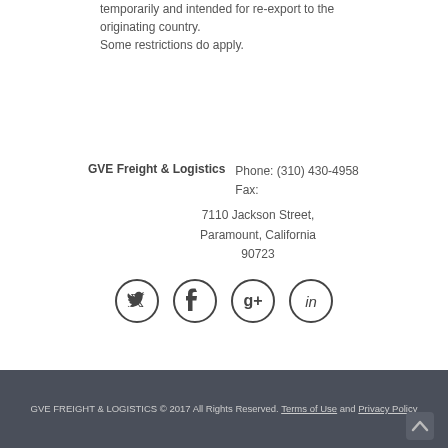temporarily and intended for re-export to the originating country.
Some restrictions do apply.
GVE Freight & Logistics   Phone: (310) 430-4958
Fax:
7110 Jackson Street,
Paramount, California
90723
[Figure (illustration): Four circular social media icons: Twitter, Facebook, Google+, LinkedIn]
GVE FREIGHT & LOGISTICS © 2017 All Rights Reserved. Terms of Use and Privacy Policy